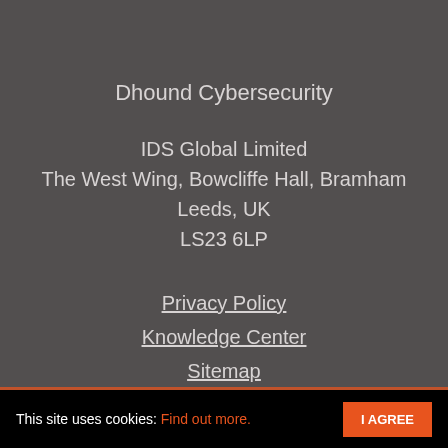Dhound Cybersecurity
IDS Global Limited
The West Wing, Bowcliffe Hall, Bramham
Leeds, UK
LS23 6LP
Privacy Policy
Knowledge Center
Sitemap
Be in touch:
[Figure (other): Three social media icons: LinkedIn, Instagram, Facebook, styled as rounded square icons with white outlines on dark background]
This site uses cookies: Find out more.  I AGREE